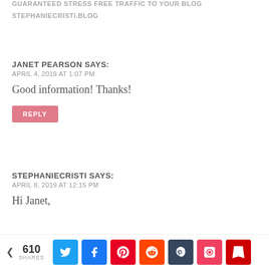GUARANTEED STRESS FREE TRAFFIC TO YOUR BLOG
STEPHANIECRISTI.BLOG
JANET PEARSON SAYS:
APRIL 4, 2019 AT 1:07 PM
Good information! Thanks!
REPLY
STEPHANIECRISTI SAYS:
APRIL 8, 2019 AT 12:15 PM
Hi Janet,
610 SHARES